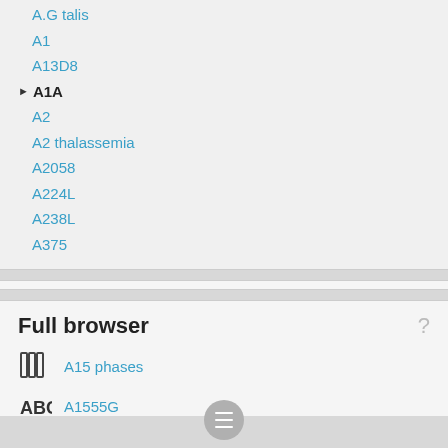A.G talis
A1
A13D8
▶ A1A (selected/bold)
A2
A2 thalassemia
A2058
A224L
A238L
A375
Full browser
A15 phases
A1555G
A179L
▶ A1A (selected)
A1A Scenic & Historic Coastal Byway